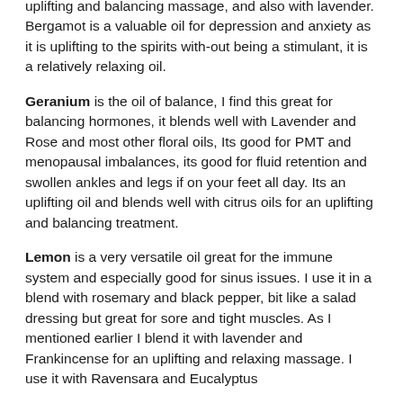uplifting and balancing massage, and also with lavender. Bergamot is a valuable oil for depression and anxiety as it is uplifting to the spirits with-out being a stimulant, it is a relatively relaxing oil.
Geranium is the oil of balance, I find this great for balancing hormones, it blends well with Lavender and Rose and most other floral oils, Its good for PMT and menopausal imbalances, its good for fluid retention and swollen ankles and legs if on your feet all day. Its an uplifting oil and blends well with citrus oils for an uplifting and balancing treatment.
Lemon is a very versatile oil great for the immune system and especially good for sinus issues. I use it in a blend with rosemary and black pepper, bit like a salad dressing but great for sore and tight muscles. As I mentioned earlier I blend it with lavender and Frankincense for an uplifting and relaxing massage. I use it with Ravensara and Eucalyptus